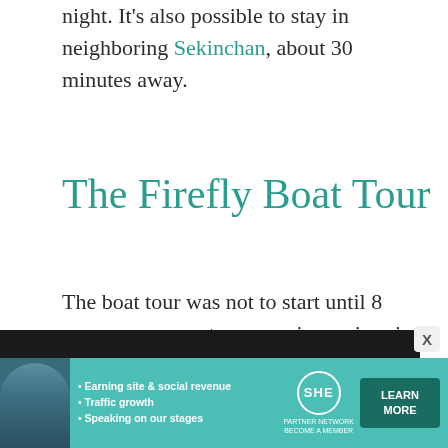apartments, ranging from RM 16 to RM 300 per night. It's also possible to stay in neighboring Sekinchan, about 30 minutes away.
The Firefly Boat Tour
The boat tour was not to start until 8 p.m., so we spent our evening swimming in the pool. After that, using the hotel transport, we were taken to a nice seafood restaurant for dinner.
[Figure (other): Advertisement banner for SHE Media Partner Network featuring a woman, bullet points about earning site & social revenue, traffic growth, speaking on our stages, SHE logo, and a Learn More button]